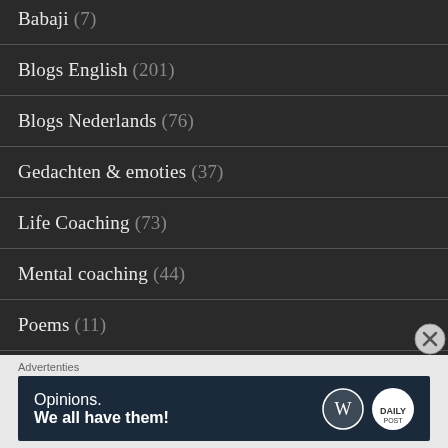Babaji (7)
Blogs English (201)
Blogs Nederlands (76)
Gedachten & emoties (37)
Life Coaching (73)
Mental coaching (44)
Poems (11)
Self empowerment (118)
Spiritual (26)
Tips and… (partial, truncated)
Advertenties
[Figure (screenshot): Advertisement banner reading 'Opinions. We all have them!' with WordPress and Daily Prompt logos on dark blue background]